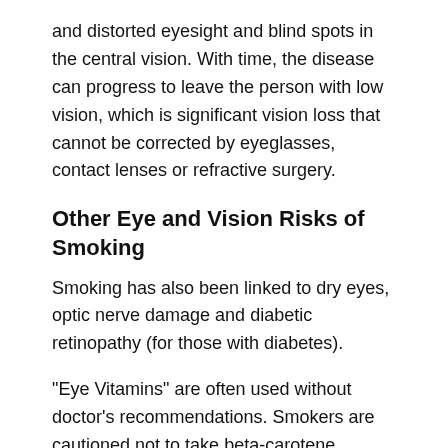and distorted eyesight and blind spots in the central vision. With time, the disease can progress to leave the person with low vision, which is significant vision loss that cannot be corrected by eyeglasses, contact lenses or refractive surgery.
Other Eye and Vision Risks of Smoking
Smoking has also been linked to dry eyes, optic nerve damage and diabetic retinopathy (for those with diabetes).
"Eye Vitamins" are often used without doctor's recommendations. Smokers are cautioned not to take beta-carotene supplements, specifically, (or multi-vitamins containing this ingredient) as studies indicate